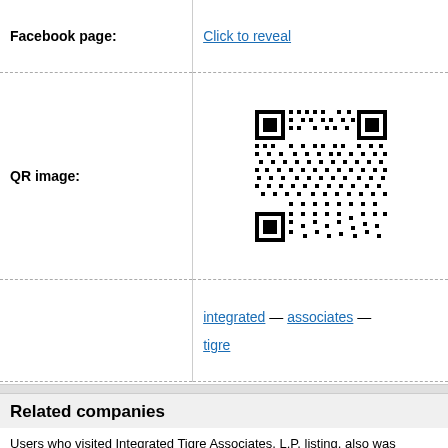|  |  |
| --- | --- |
| Facebook page: | Click to reveal |
| QR image: | [QR code image] |
|  | integrated — associates — tigre |
Related companies
Users who visited Integrated Tigre Associates, L.P. listing, also was interested in: